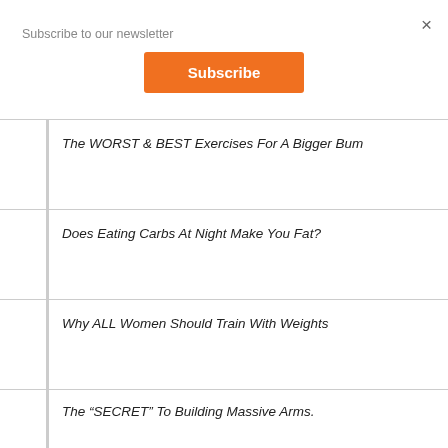Subscribe to our newsletter
×
Subscribe
The WORST & BEST Exercises For A Bigger Bum
Does Eating Carbs At Night Make You Fat?
Why ALL Women Should Train With Weights
The “SECRET” To Building Massive Arms.